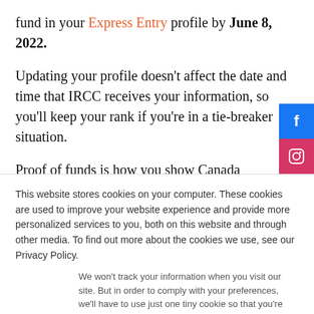fund in your Express Entry profile by June 8, 2022.
Updating your profile doesn't affect the date and time that IRCC receives your information, so you'll keep your rank if you're in a tie-breaker situation.
Proof of funds is how you show Canada Immigration that you have enough money to settle in Canada. If are invite apply, you must give written proof that you have this mo... The most popular proof is Bank statements for at least 6...
This website stores cookies on your computer. These cookies are used to improve your website experience and provide more personalized services to you, both on this website and through other media. To find out more about the cookies we use, see our Privacy Policy.
We won't track your information when you visit our site. But in order to comply with your preferences, we'll have to use just one tiny cookie so that you're not asked to make this choice again.